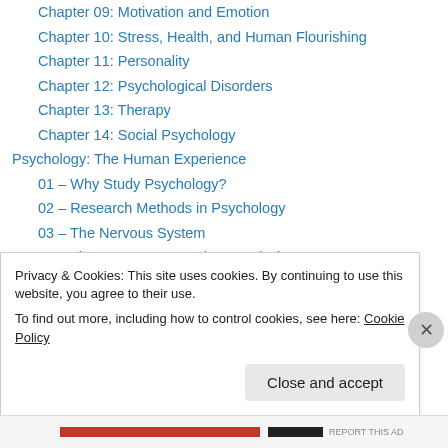Chapter 09: Motivation and Emotion
Chapter 10: Stress, Health, and Human Flourishing
Chapter 11: Personality
Chapter 12: Psychological Disorders
Chapter 13: Therapy
Chapter 14: Social Psychology
Psychology: The Human Experience
01 – Why Study Psychology?
02 – Research Methods in Psychology
03 – The Nervous System
04 – The Neuron & Neural Transmission
05 – Sensation & Perception
06 – Consciousness
07 – Learning: Classical & Operant Conditioning
Privacy & Cookies: This site uses cookies. By continuing to use this website, you agree to their use.
To find out more, including how to control cookies, see here: Cookie Policy